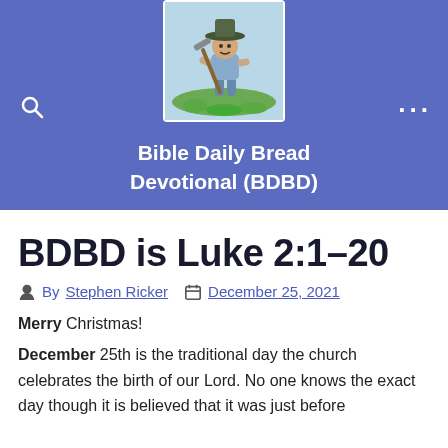[Figure (logo): Bible Daily Bread Devotional logo: cartoon farmer figure with hat and hoe on grass, displayed in white box on blue banner background]
Bible Daily Bread Devotional (BDBD)
BDBD is Luke 2:1–20
By Stephen Ricker   December 25, 2021
Merry Christmas!
December 25th is the traditional day the church celebrates the birth of our Lord. No one knows the exact day though it is believed that it was just before